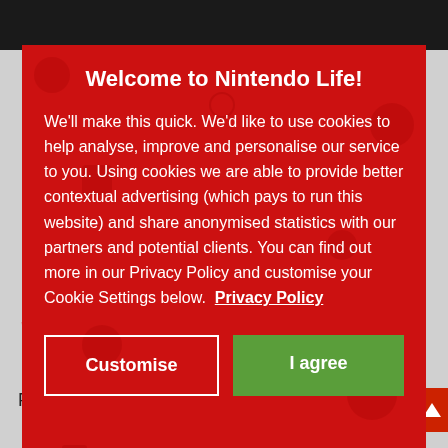Welcome to Nintendo Life!
We'll make this quick. We'd like to use cookies to help analyse, improve and personalise our service to you. Using cookies we are able to provide better contextual advertising (which pays to run this website) and share anonymised statistics with our partners and potential clients. You can find out more in our Privacy Policy and customise your Cookie Settings below.  Privacy Policy
Customise
I agree
Wishlist
Posts 1 to 20 of 182